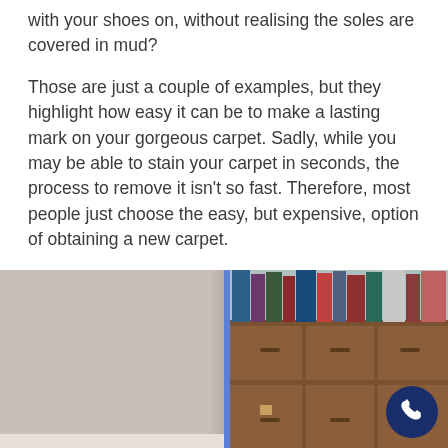with your shoes on, without realising the soles are covered in mud?
Those are just a couple of examples, but they highlight how easy it can be to make a lasting mark on your gorgeous carpet. Sadly, while you may be able to stain your carpet in seconds, the process to remove it isn't so fast. Therefore, most people just choose the easy, but expensive, option of obtaining a new carpet.
[Figure (photo): A before/after style image split by a blue vertical line. Left side shows a plain beige/taupe wall or carpet area. Right side shows a wooden bookshelf/cabinet with books on top and cabinet doors below, plus a dark navy circular phone button in the bottom right corner.]